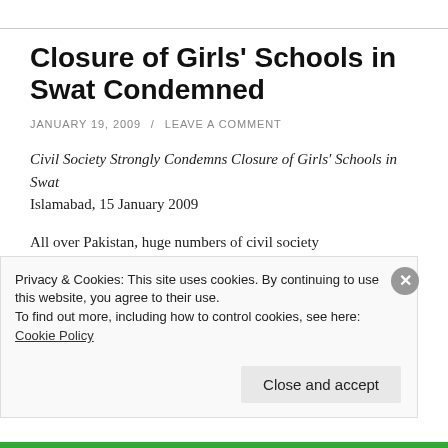Closure of Girls' Schools in Swat Condemned
JANUARY 19, 2009  /  LEAVE A COMMENT
Civil Society Strongly Condemns Closure of Girls' Schools in Swat
Islamabad, 15 January 2009
All over Pakistan, huge numbers of civil society organizations, human rights activists, lawyers, teachers
Privacy & Cookies: This site uses cookies. By continuing to use this website, you agree to their use.
To find out more, including how to control cookies, see here: Cookie Policy
Close and accept